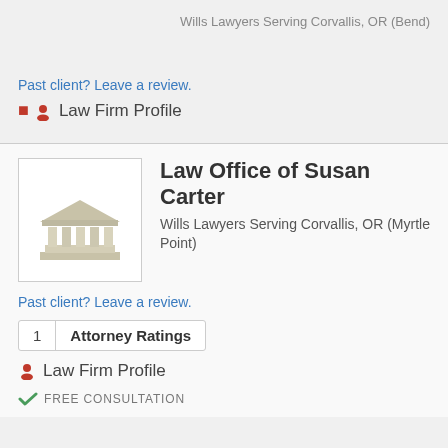Wills Lawyers Serving Corvallis, OR (Bend)
Past client? Leave a review.
Law Firm Profile
Law Office of Susan Carter
Wills Lawyers Serving Corvallis, OR (Myrtle Point)
Past client? Leave a review.
1  Attorney Ratings
Law Firm Profile
FREE CONSULTATION